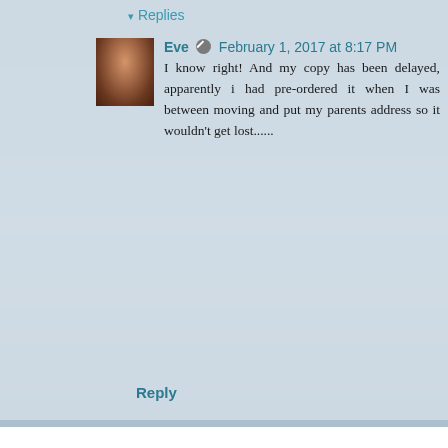▾ Replies
Eve  February 1, 2017 at 8:17 PM
I know right! And my copy has been delayed, apparently i had pre-ordered it when I was between moving and put my parents address so it wouldn't get lost......
Reply
Enter Comment
Home
View web version
Powered by Blogger.